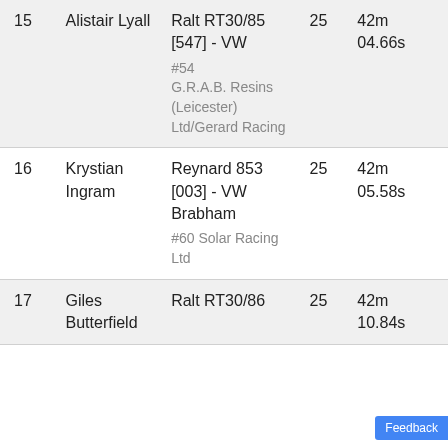| # | Driver | Car | Laps | Time |
| --- | --- | --- | --- | --- |
| 15 | Alistair Lyall | Ralt RT30/85 [547] - VW
#54 G.R.A.B. Resins (Leicester) Ltd/Gerard Racing | 25 | 42m 04.66s |
| 16 | Krystian Ingram | Reynard 853 [003] - VW Brabham
#60 Solar Racing Ltd | 25 | 42m 05.58s |
| 17 | Giles Butterfield | Ralt RT30/86 | 25 | 42m 10.84s |